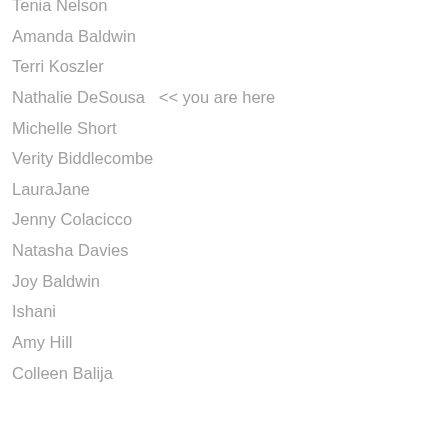Tenia Nelson
Amanda Baldwin
Terri Koszler
Nathalie DeSousa  << you are here
Michelle Short
Verity Biddlecombe
LauraJane
Jenny Colacicco
Natasha Davies
Joy Baldwin
Ishani
Amy Hill
Colleen Balija